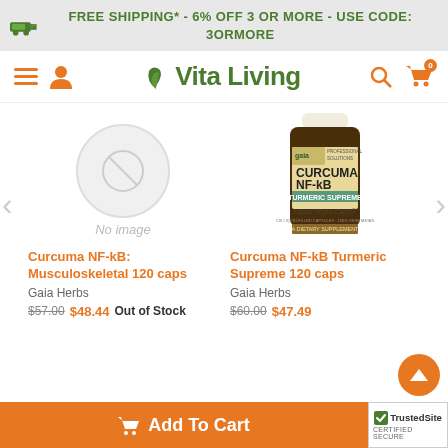FREE SHIPPING* - 6% OFF 3 OR MORE - USE CODE: 3ORMORE
[Figure (logo): Vita Living logo with leaf icon]
[Figure (photo): No image placeholder circle for Curcuma NF-kB Musculoskeletal]
[Figure (photo): Gaia Herbs Curcuma NF-kB Turmeric Supreme 120 caps bottle]
Curcuma NF-kB: Musculoskeletal 120 caps
Gaia Herbs
$57.00 $48.44 Out of Stock
Curcuma NF-kB Turmeric Supreme 120 caps
Gaia Herbs
$60.00 $47.49
Add To Cart